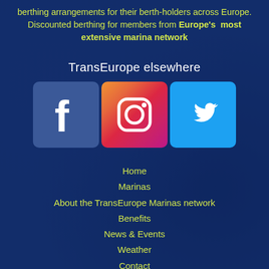berthing arrangements for their berth-holders across Europe. Discounted berthing for members from Europe's most extensive marina network
TransEurope elsewhere
[Figure (infographic): Three social media icons in a row: Facebook (blue background, white F), Instagram (gradient background, white camera icon), Twitter (light blue background, white bird icon)]
Home
Marinas
About the TransEurope Marinas network
Benefits
News & Events
Weather
Contact
© 2022 TransEurope Marinas - site by rays